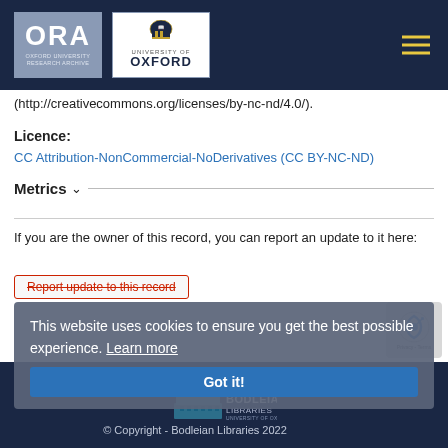[Figure (logo): ORA (Oxford University Research Archive) and University of Oxford logos in dark navy header bar with hamburger menu icon]
(http://creativecommons.org/licenses/by-nc-nd/4.0/).
Licence:
CC Attribution-NonCommercial-NoDerivatives (CC BY-NC-ND)
Metrics
If you are the owner of this record, you can report an update to it here:
Report update to this record
This website uses cookies to ensure you get the best possible experience. Learn more
Got it!
[Figure (logo): Bodleian Libraries logo in dark navy footer]
© Copyright - Bodleian Libraries 2022